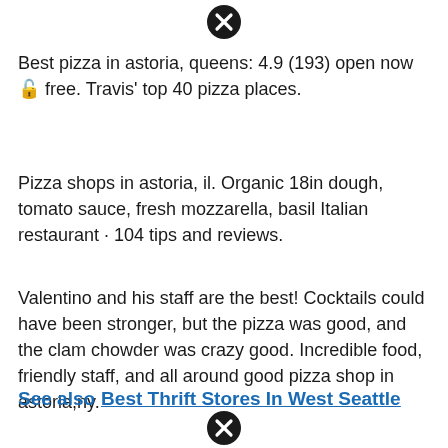[Figure (other): Close/dismiss icon (circled X) at top center]
Best pizza in astoria, queens: 4.9 (193) open now 🔓 free. Travis' top 40 pizza places.
Pizza shops in astoria, il. Organic 18in dough, tomato sauce, fresh mozzarella, basil Italian restaurant · 104 tips and reviews.
Valentino and his staff are the best! Cocktails could have been stronger, but the pizza was good, and the clam chowder was crazy good. Incredible food, friendly staff, and all around good pizza shop in astoria,ny.
See also  Best Thrift Stores In West Seattle
[Figure (other): Close/dismiss icon (circled X) at bottom center]